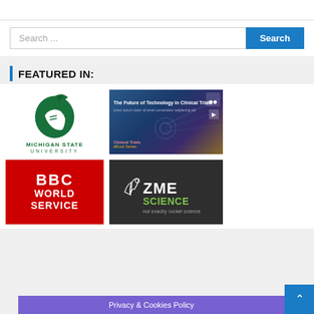[Figure (screenshot): Search bar with text 'Search ...' and blue 'Search' button]
FEATURED IN:
[Figure (logo): Michigan State University logo with green Spartan helmet and text 'MICHIGAN STATE UNIVERSITY']
[Figure (screenshot): Clinical Trials technology thumbnail - 'The Future of Technology in Clinical Trials' with dark blue background]
[Figure (logo): BBC World Service logo on red background]
[Figure (logo): ZME Science logo on dark background with text 'not exactly rocket science']
Privacy & Cookies Policy